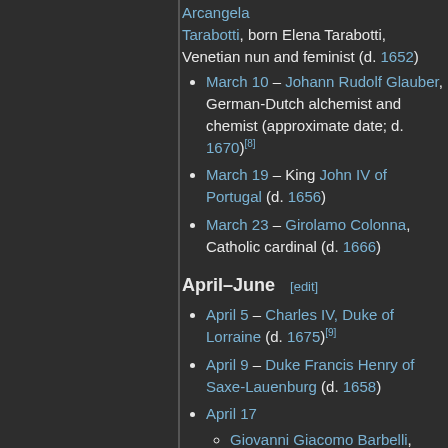Arcangela Tarabotti, born Elena Tarabotti, Venetian nun and feminist (d. 1652)
March 10 – Johann Rudolf Glauber, German-Dutch alchemist and chemist (approximate date; d. 1670)[8]
March 19 – King John IV of Portugal (d. 1656)
March 23 – Girolamo Colonna, Catholic cardinal (d. 1666)
April–June [edit]
April 5 – Charles IV, Duke of Lorraine (d. 1675)[9]
April 9 – Duke Francis Henry of Saxe-Lauenburg (d. 1658)
April 17
Giovanni Giacomo Barbelli, Italian painter (d. 1656)